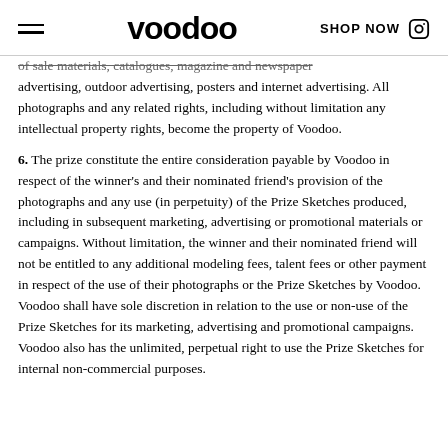voodoo  SHOP NOW
of sale materials, catalogues, magazine and newspaper advertising, outdoor advertising, posters and internet advertising. All photographs and any related rights, including without limitation any intellectual property rights, become the property of Voodoo.
6. The prize constitute the entire consideration payable by Voodoo in respect of the winner's and their nominated friend's provision of the photographs and any use (in perpetuity) of the Prize Sketches produced, including in subsequent marketing, advertising or promotional materials or campaigns. Without limitation, the winner and their nominated friend will not be entitled to any additional modeling fees, talent fees or other payment in respect of the use of their photographs or the Prize Sketches by Voodoo. Voodoo shall have sole discretion in relation to the use or non-use of the Prize Sketches for its marketing, advertising and promotional campaigns. Voodoo also has the unlimited, perpetual right to use the Prize Sketches for internal non-commercial purposes.